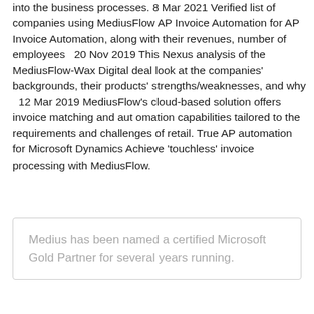into the business processes. 8 Mar 2021 Verified list of companies using MediusFlow AP Invoice Automation for AP Invoice Automation, along with their revenues, number of employees  20 Nov 2019 This Nexus analysis of the MediusFlow-Wax Digital deal look at the companies' backgrounds, their products' strengths/weaknesses, and why  12 Mar 2019 MediusFlow's cloud-based solution offers invoice matching and aut omation capabilities tailored to the requirements and challenges of retail. True AP automation for Microsoft Dynamics Achieve 'touchless' invoice processing with MediusFlow.
Medius has been named a certified Microsoft Gold Partner for several years running.